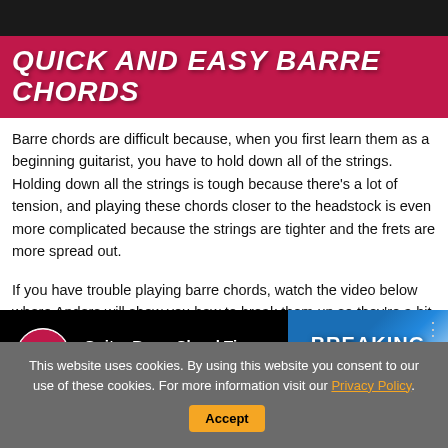[Figure (photo): Dark photo background at top of page]
QUICK AND EASY BARRE CHORDS
Barre chords are difficult because, when you first learn them as a beginning guitarist, you have to hold down all of the strings. Holding down all the strings is tough because there’s a lot of tension, and playing these chords closer to the headstock is even more complicated because the strings are tighter and the frets are more spread out.
If you have trouble playing barre chords, watch the video below where Anders will show you how to break them up so they’re a bit easier to play.
[Figure (screenshot): YouTube video thumbnail: Guitar Barre Chord Tips Breaking The... with G logo and Breaking Up text overlay]
This website uses cookies. By using this website you consent to our use of these cookies. For more information visit our Privacy Policy. Accept